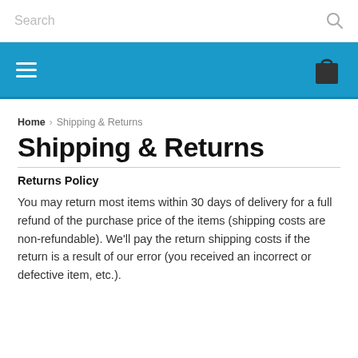Search
[Figure (other): Blue navigation bar with hamburger menu icon on the left and shopping bag icon on the right]
Home : Shipping & Returns
Shipping & Returns
Returns Policy
You may return most items within 30 days of delivery for a full refund of the purchase price of the items (shipping costs are non-refundable). We'll pay the return shipping costs if the return is a result of our error (you received an incorrect or defective item, etc.).